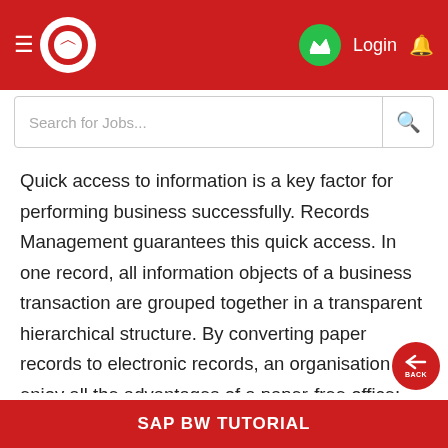[Figure (screenshot): Mobile app top navigation bar with hamburger menu, white logo on red background, green crown icon, Login text, and bell notification icon]
[Figure (screenshot): Search bar with placeholder text 'Search for Jobs...' and magnifying glass icon]
Quick access to information is a key factor for performing business successfully. Records Management guarantees this quick access. In one record, all information objects of a business transaction are grouped together in a transparent hierarchical structure. By converting paper records to electronic records, an organisation can enjoy all the advantages of a paper-free office: No storage costs for records, no cost-intensive copying procedures, and optimal retrieval of information.
SAP BW TUTORIAL